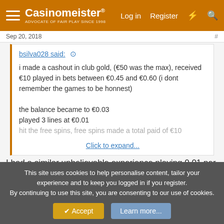Casinomeister® — Log in | Register
Sep 20, 2018
bsilva028 said: i made a cashout in club gold, (€50 was the max), received €10 played in bets between €0.45 and €0.60 (i dont remember the games to be honnest)

the balance became to €0.03
played 3 lines at €0.01
hit the free spins, free spins made a total paid of €10

Click to expand...
I had a similar unbelievable experience playing 0.01 per spin, again on BDBA actually, when I first played at lucky emperor with their £10 NDB. Every time I got down to <£1, I dropped
This site uses cookies to help personalise content, tailor your experience and to keep you logged in if you register.
By continuing to use this site, you are consenting to our use of cookies.